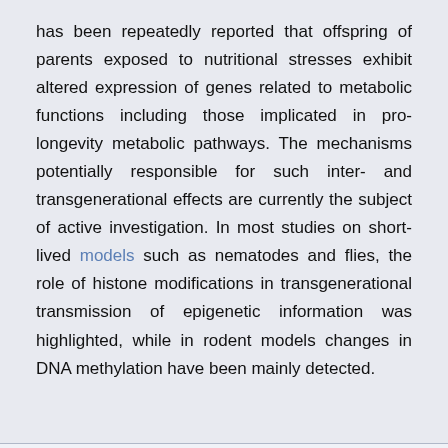has been repeatedly reported that offspring of parents exposed to nutritional stresses exhibit altered expression of genes related to metabolic functions including those implicated in pro-longevity metabolic pathways. The mechanisms potentially responsible for such inter- and transgenerational effects are currently the subject of active investigation. In most studies on short-lived models such as nematodes and flies, the role of histone modifications in transgenerational transmission of epigenetic information was highlighted, while in rodent models changes in DNA methylation have been mainly detected.
Link: https://doi.org/10.1186/s13072-017-0145-1